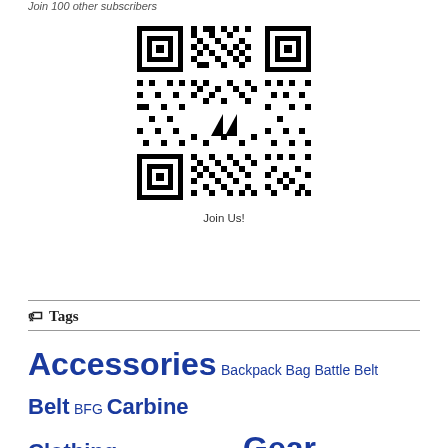Join 100 other subscribers
[Figure (other): QR code with two arrow triangles logo in center]
Join Us!
Tags
Accessories Backpack Bag Battle Belt Belt BFG Carbine Clothing Development Drills Gear Knowledge Magpul Pack Pelican Pistol Plate Carrier Range Bag Rifle Rifle Case T3